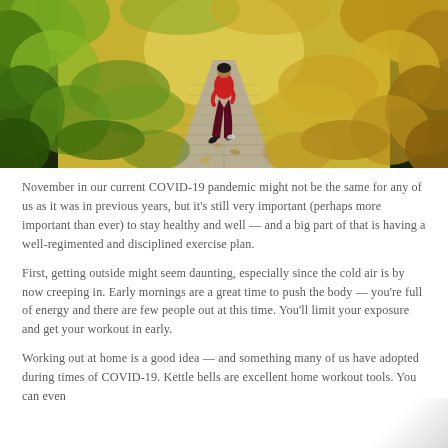[Figure (photo): A person in red outfit running away from camera along a wooden boardwalk path surrounded by autumn foliage — golden yellow and orange leaves on either side, trees lining the path.]
November in our current COVID-19 pandemic might not be the same for any of us as it was in previous years, but it's still very important (perhaps more important than ever) to stay healthy and well — and a big part of that is having a well-regimented and disciplined exercise plan.
First, getting outside might seem daunting, especially since the cold air is by now creeping in. Early mornings are a great time to push the body — you're full of energy and there are few people out at this time. You'll limit your exposure and get your workout in early.
Working out at home is a good idea — and something many of us have adopted during times of COVID-19. Kettle bells are excellent home workout tools. You can even